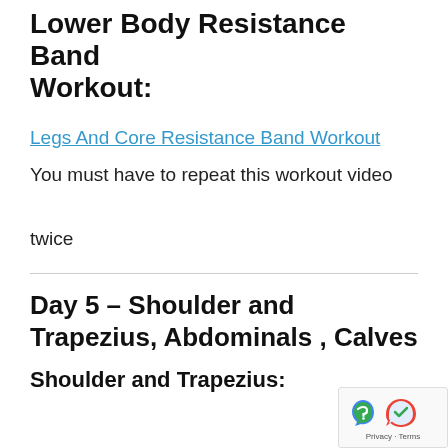Lower Body Resistance Band Workout:
Legs And Core Resistance Band Workout
You must have to repeat this workout video twice
Day 5 – Shoulder and Trapezius, Abdominals , Calves
Shoulder and Trapezius: